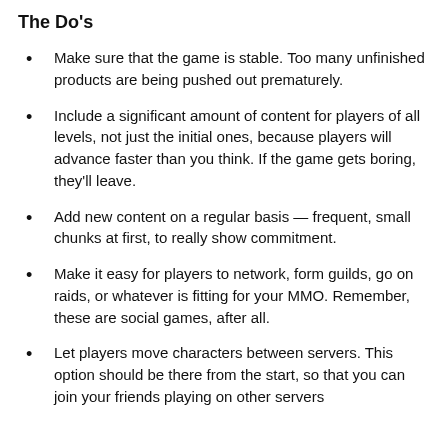The Do's
Make sure that the game is stable. Too many unfinished products are being pushed out prematurely.
Include a significant amount of content for players of all levels, not just the initial ones, because players will advance faster than you think. If the game gets boring, they'll leave.
Add new content on a regular basis — frequent, small chunks at first, to really show commitment.
Make it easy for players to network, form guilds, go on raids, or whatever is fitting for your MMO. Remember, these are social games, after all.
Let players move characters between servers. This option should be there from the start, so that you can join your friends playing on other servers